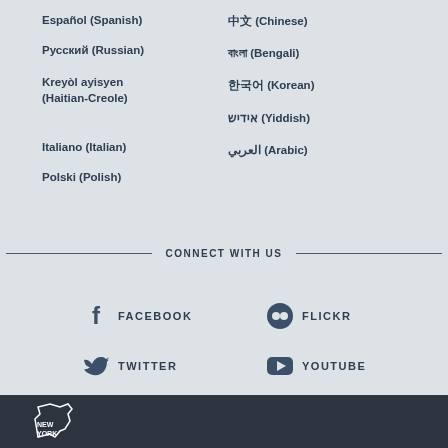Español (Spanish)
中文 (Chinese)
Русский (Russian)
বাংলা (Bengali)
Kreyòl ayisyen (Haitian-Creole)
한국어 (Korean)
אידיש (Yiddish)
Italiano (Italian)
العربي (Arabic)
Polski (Polish)
CONNECT WITH US
[Figure (infographic): Social media icons and labels: Facebook, Flickr, Twitter, YouTube]
NEW YORK